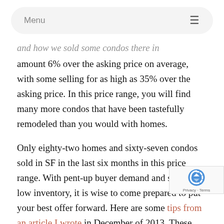Menu ≡
and how we sold some condos there in amount 6% over the asking price on average, with some selling for as high as 35% over the asking price. In this price range, you will find many more condos that have been tastefully remodeled than you would with homes.
Only eighty-two homes and sixty-seven condos sold in SF in the last six months in this price range. With pent-up buyer demand and still quite low inventory, it is wise to come prepared to put your best offer forward. Here are some tips from an article I wrote in December of 2013. These tips still apply today.
If you are a buyer looking in this price range, I'd be